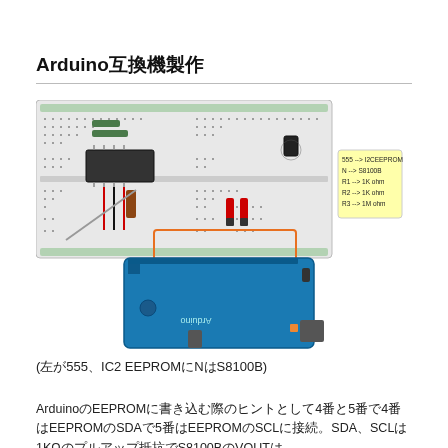Arduino互換機製作
[Figure (schematic): Arduino breadboard circuit schematic with 555 timer IC, I2C EEPROM, S8100B transistor, and resistors R1 1K ohm, R2 1K ohm, R3 1M ohm connected to Arduino board. Yellow note box on right side lists components: 555 --> I2CEEPROM, N --> S8100B, R1 --> 1K ohm, R2 --> 1K ohm, R3 --> 1M ohm.]
(左が555、IC2 EEPROMにNはS8100B)
ArduinoのEEPROMに書き込む際のヒントとして4番と5番で4番はEEPROMのSDAで5番はEEPROMのSCLに接続。SDA、SCLは1KΩのプルアップ抵抗でS8100BのVOUTは